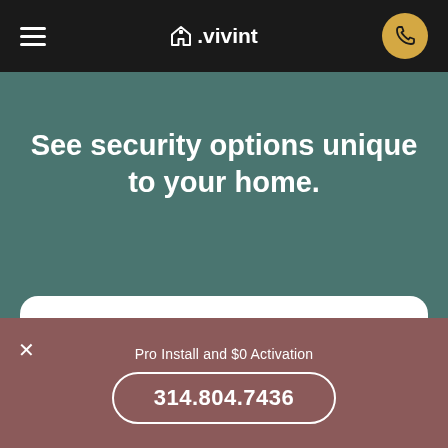vivint
See security options unique to your home.
RESIDENCE TYPE
Choose One
Single Family
Pro Install and $0 Activation
314.804.7436